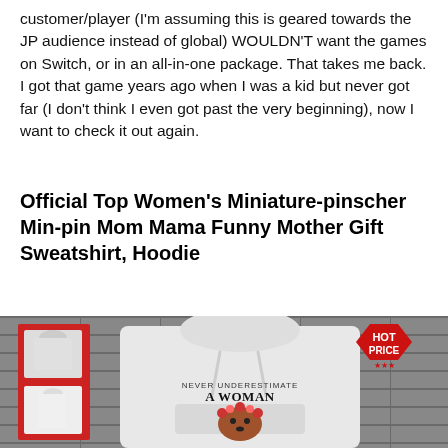customer/player (I'm assuming this is geared towards the JP audience instead of global) WOULDN'T want the games on Switch, or in an all-in-one package. That takes me back. I got that game years ago when I was a kid but never got far (I don't think I even got past the very beginning), now I want to check it out again.
Official Top Women's Miniature-pinscher Min-pin Mom Mama Funny Mother Gift Sweatshirt, Hoodie
[Figure (photo): Product photo of a white hoodie sweatshirt with a dog graphic and text 'NEVER UNDERESTIMATE A WOMAN'. A red HOT PRICE badge is visible in the upper right corner. Small thumbnail images of clothing items appear on the left side.]